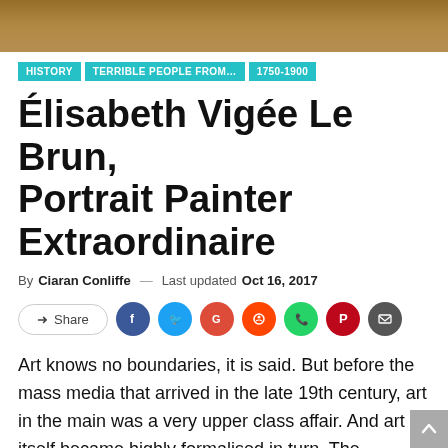[Figure (photo): Top portion of a painting or portrait, warm brown and gold tones, partially cropped]
HISTORY
TERRIBLE PEOPLE FROM...
1750-1900
Élisabeth Vigée Le Brun, Portrait Painter Extraordinaire
By Ciaran Conliffe — Last updated Oct 16, 2017
Art knows no boundaries, it is said. But before the mass media that arrived in the late 19th century, art in the main was a very upper class affair. And art itself became highly formalised in turn. The